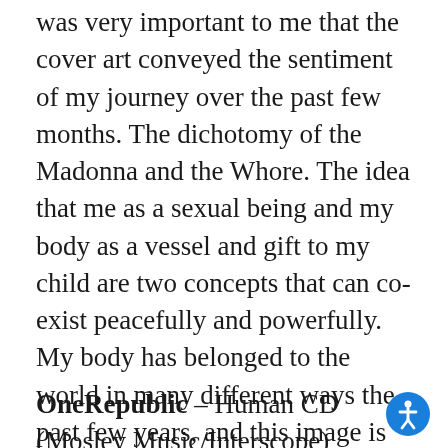was very important to me that the cover art conveyed the sentiment of my journey over the past few months. The dichotomy of the Madonna and the Whore. The idea that me as a sexual being and my body as a vessel and gift to my child are two concepts that can co-exist peacefully and powerfully. My body has belonged to the world in many different ways the past few years, and this image is my means of reclaiming my autonomy and establishing my pride and strength as a life force for my human being.” [An indie store exclusive vinyl pressing is available.]
OneRepublic – Human CD (Mosley Music/Interscope)